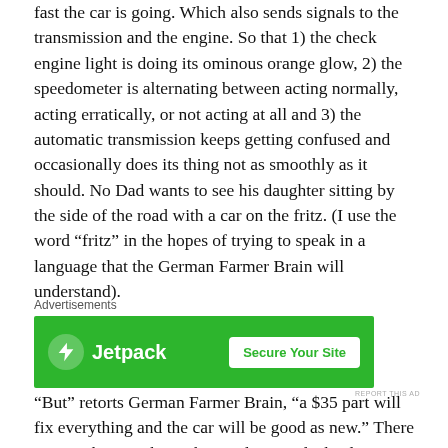fast the car is going. Which also sends signals to the transmission and the engine. So that 1) the check engine light is doing its ominous orange glow, 2) the speedometer is alternating between acting normally, acting erratically, or not acting at all and 3) the automatic transmission keeps getting confused and occasionally does its thing not as smoothly as it should. No Dad wants to see his daughter sitting by the side of the road with a car on the fritz. (I use the word “fritz” in the hopes of trying to speak in a language that the German Farmer Brain will understand).
[Figure (screenshot): Jetpack advertisement banner with green background. Shows Jetpack logo with lightning bolt icon on left, and a white button reading 'Secure Your Site' on the right. Label above reads 'Advertisements'.]
“But” retorts German Farmer Brain, “a $35 part will fix everything and the car will be good as new.” There is something to that – the car does not leak, always starts,